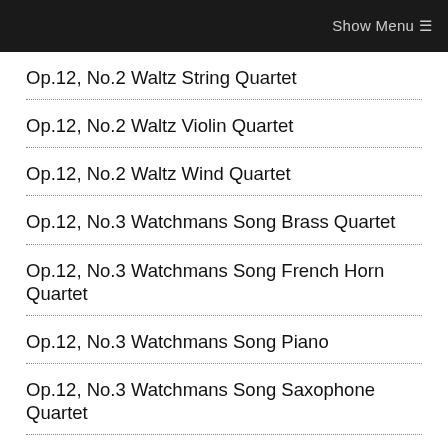Show Menu ☰
Op.12, No.2 Waltz String Quartet
Op.12, No.2 Waltz Violin Quartet
Op.12, No.2 Waltz Wind Quartet
Op.12, No.3 Watchmans Song Brass Quartet
Op.12, No.3 Watchmans Song French Horn Quartet
Op.12, No.3 Watchmans Song Piano
Op.12, No.3 Watchmans Song Saxophone Quartet
Op.12, No.3 Watchmans Song String Quartet
Op.12, No.3 Watchmans Song Wind Quartet